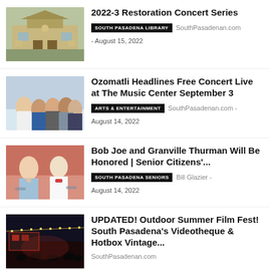[Figure (photo): Photo of South Pasadena Library building exterior]
2022-3 Restoration Concert Series
SOUTH PASADENA LIBRARY   SouthPasadenan.com - August 15, 2022
[Figure (photo): Photo of Ozomatli band members posing together]
Ozomatli Headlines Free Concert Live at The Music Center September 3
ARTS & ENTERTAINMENT   SouthPasadenan.com - August 14, 2022
[Figure (photo): Photo of Bob Joe and Granville Thurman seated together at an event]
Bob Joe and Granville Thurman Will Be Honored | Senior Citizens'...
SOUTH PASADENA SENIORS   Bill Glazier - August 14, 2022
[Figure (photo): Photo of outdoor film festival at night with crowd and string lights]
UPDATED! Outdoor Summer Film Fest! South Pasadena's Videotheque & Hotbox Vintage...
SouthPasadenan.com